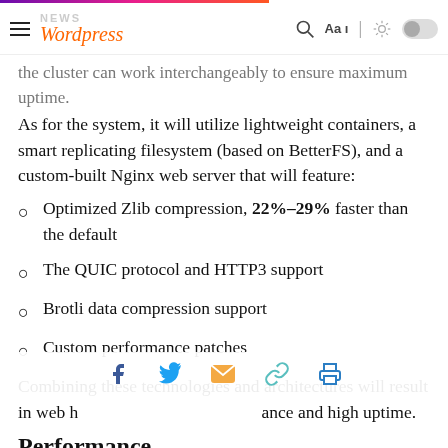NEWS Wordpress — header navigation bar
the cluster can work interchangeably to ensure maximum uptime.
As for the system, it will utilize lightweight containers, a smart replicating filesystem (based on BetterFS), and a custom-built Nginx web server that will feature:
Optimized Zlib compression, 22%-29% faster than the default
The QUIC protocol and HTTP3 support
Brotli data compression support
Custom performance patches
Combining these technologies and architectures will result in web hosting with better performance and high uptime.
Performance